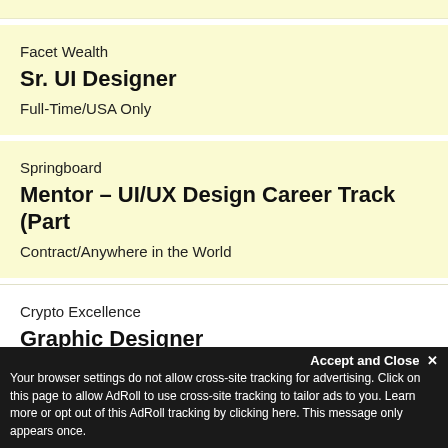Facet Wealth
Sr. UI Designer
Full-Time/USA Only
Springboard
Mentor – UI/UX Design Career Track (Part
Contract/Anywhere in the World
Crypto Excellence
Graphic Designer
Contract/Anywhere in the World
Accept and Close ✕
Your browser settings do not allow cross-site tracking for advertising. Click on this page to allow AdRoll to use cross-site tracking to tailor ads to you. Learn more or opt out of this AdRoll tracking by clicking here. This message only appears once.